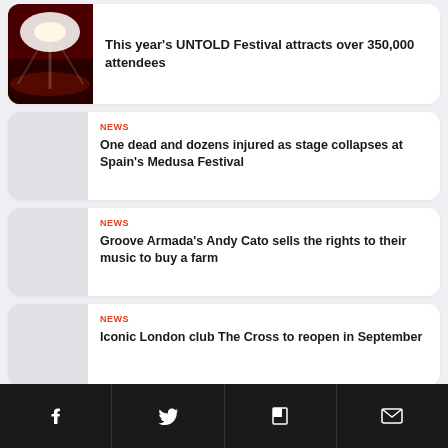[Figure (photo): Concert crowd with bright stage lighting, red-lit audience]
This year's UNTOLD Festival attracts over 350,000 attendees
NEWS
One dead and dozens injured as stage collapses at Spain's Medusa Festival
NEWS
Groove Armada's Andy Cato sells the rights to their music to buy a farm
NEWS
Iconic London club The Cross to reopen in September
Facebook | Twitter | Flipboard | Email